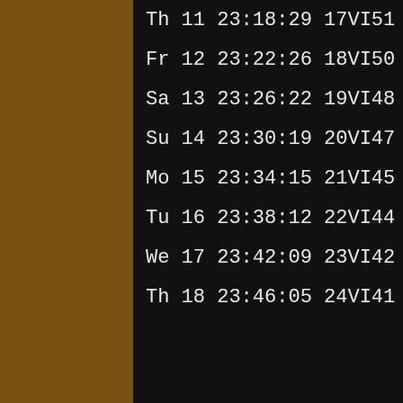Th 11 23:18:29 17VI51
Fr 12 23:22:26 18VI50
Sa 13 23:26:22 19VI48
Su 14 23:30:19 20VI47
Mo 15 23:34:15 21VI45
Tu 16 23:38:12 22VI44
We 17 23:42:09 23VI42
Th 18 23:46:05 24VI41